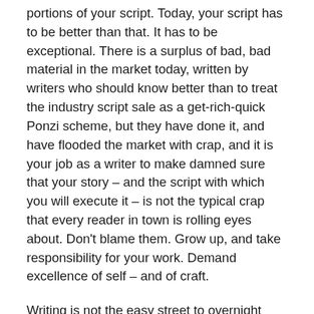portions of your script. Today, your script has to be better than that. It has to be exceptional. There is a surplus of bad, bad material in the market today, written by writers who should know better than to treat the industry script sale as a get-rich-quick Ponzi scheme, but they have done it, and have flooded the market with crap, and it is your job as a writer to make damned sure that your story – and the script with which you will execute it – is not the typical crap that every reader in town is rolling eyes about. Don't blame them. Grow up, and take responsibility for your work. Demand excellence of self – and of craft.
Writing is not the easy street to overnight fame and fortune. It is hard. It is WORK. If you don't want to do the work, them perhaps you might consider another day job.
If you do have the work ethic, if you have the fortitude, the